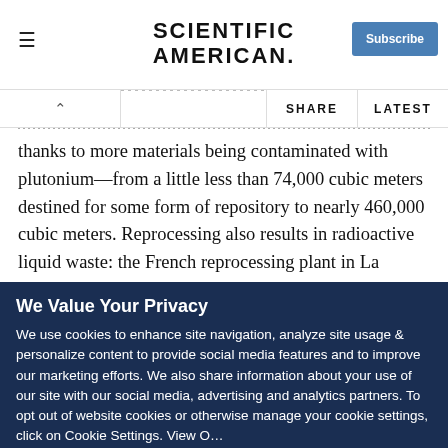SCIENTIFIC AMERICAN
thanks to more materials being contaminated with plutonium—from a little less than 74,000 cubic meters destined for some form of repository to nearly 460,000 cubic meters. Reprocessing also results in radioactive liquid waste: the French reprocessing plant in La Hague discharges 100 million liters of liquid waste (pdf) into the English Channel each year. "They have polluted the ocean all the way to the Arctic," Makhijani says. "Eleven western European countries have
We Value Your Privacy
We use cookies to enhance site navigation, analyze site usage & personalize content to provide social media features and to improve our marketing efforts. We also share information about your use of our site with our social media, advertising and analytics partners. To opt out of website cookies or otherwise manage your cookie settings, click on Cookie Settings. View O...